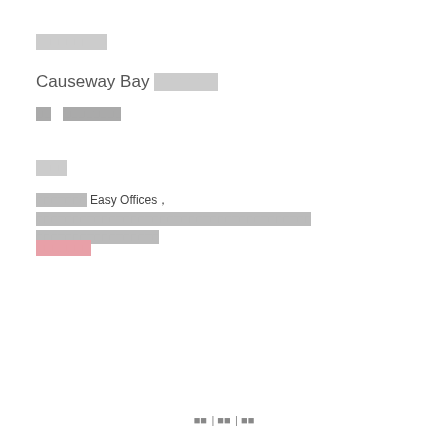[CJK characters]
Causeway Bay [CJK characters]
[CJK] [CJK characters]
[CJK]
[CJK characters] Easy Offices[symbol][CJK characters long][CJK characters]
[CJK characters - pink/link]
[CJK] | [CJK] | [CJK]